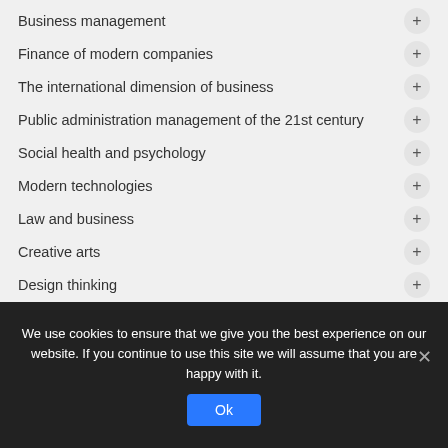Business management
Finance of modern companies
The international dimension of business
Public administration management of the 21st century
Social health and psychology
Modern technologies
Law and business
Creative arts
Design thinking
We use cookies to ensure that we give you the best experience on our website. If you continue to use this site we will assume that you are happy with it.